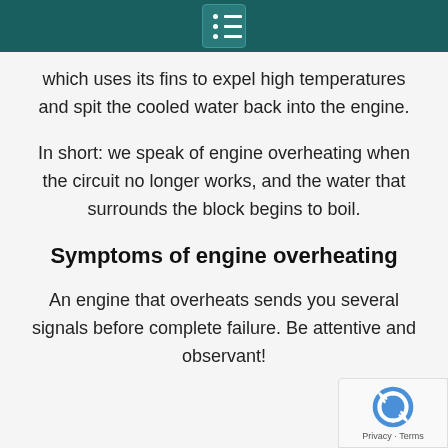which uses its fins to expel high temperatures and spit the cooled water back into the engine.
In short: we speak of engine overheating when the circuit no longer works, and the water that surrounds the block begins to boil.
Symptoms of engine overheating
An engine that overheats sends you several signals before complete failure. Be attentive and observant!